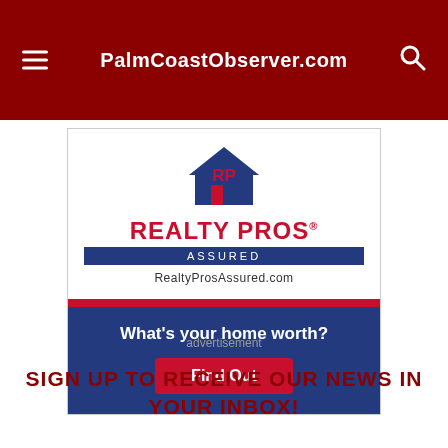PalmCoastObserver.com
[Figure (logo): Realty Pros Assured logo with blue house icon and text RealtyProsAssured.com, with a blue and red banner ad below reading 'What's your home worth? Find Out']
advertisement
SIGN UP TO RECEIVE OUR NEWS IN YOUR INBOX!